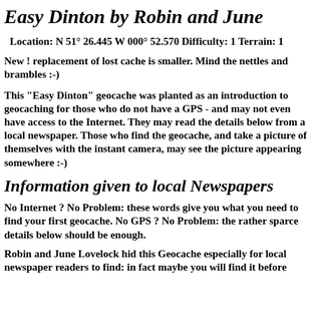Easy Dinton by Robin and June
Location: N 51° 26.445 W 000° 52.570 Difficulty: 1 Terrain: 1
New ! replacement of lost cache is smaller. Mind the nettles and brambles :-)
This "Easy Dinton" geocache was planted as an introduction to geocaching for those who do not have a GPS - and may not even have access to the Internet. They may read the details below from a local newspaper. Those who find the geocache, and take a picture of themselves with the instant camera, may see the picture appearing somewhere :-)
Information given to local Newspapers
No Internet ? No Problem: these words give you what you need to find your first geocache. No GPS ? No Problem: the rather sparce details below should be enough.
Robin and June Lovelock hid this Geocache especially for local newspaper readers to find: in fact maybe you will find it before